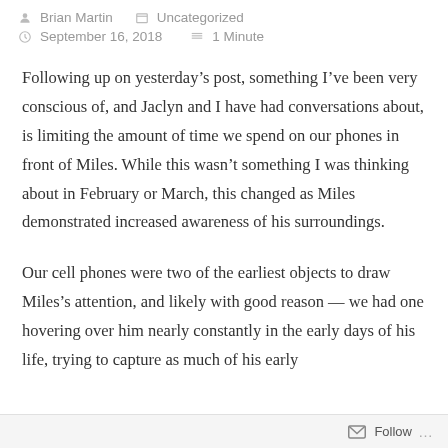Brian Martin   Uncategorized   September 16, 2018   1 Minute
Following up on yesterday’s post, something I’ve been very conscious of, and Jaclyn and I have had conversations about, is limiting the amount of time we spend on our phones in front of Miles. While this wasn’t something I was thinking about in February or March, this changed as Miles demonstrated increased awareness of his surroundings.
Our cell phones were two of the earliest objects to draw Miles’s attention, and likely with good reason — we had one hovering over him nearly constantly in the early days of his life, trying to capture as much of his early
Follow ...